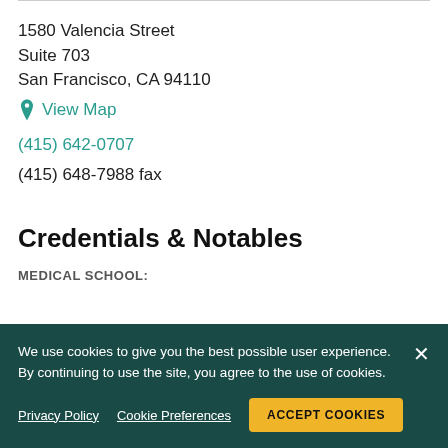1580 Valencia Street
Suite 703
San Francisco, CA 94110
View Map
(415) 642-0707
(415) 648-7988 fax
Credentials & Notables
MEDICAL SCHOOL:
We use cookies to give you the best possible user experience. By continuing to use the site, you agree to the use of cookies.
Privacy Policy
Cookie Preferences
ACCEPT COOKIES